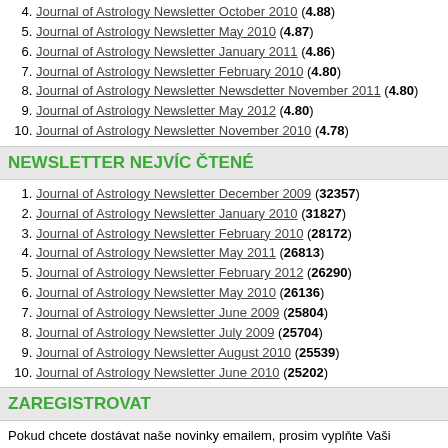4. Journal of Astrology Newsletter October 2010 (4.88)
5. Journal of Astrology Newsletter May 2010 (4.87)
6. Journal of Astrology Newsletter January 2011 (4.86)
7. Journal of Astrology Newsletter February 2010 (4.80)
8. Journal of Astrology Newsletter Newsdetter November 2011 (4.80)
9. Journal of Astrology Newsletter May 2012 (4.80)
10. Journal of Astrology Newsletter November 2010 (4.78)
NEWSLETTER NEJVÍC ČTENÉ
1. Journal of Astrology Newsletter December 2009 (32357)
2. Journal of Astrology Newsletter January 2010 (31827)
3. Journal of Astrology Newsletter February 2010 (28172)
4. Journal of Astrology Newsletter May 2011 (26813)
5. Journal of Astrology Newsletter February 2012 (26290)
6. Journal of Astrology Newsletter May 2010 (26136)
7. Journal of Astrology Newsletter June 2009 (25804)
8. Journal of Astrology Newsletter July 2009 (25704)
9. Journal of Astrology Newsletter August 2010 (25539)
10. Journal of Astrology Newsletter June 2010 (25202)
ZAREGISTROVAT
Pokud chcete dostávat naše novinky emailem, prosim vyplňte Vaši emailovou adresu do polička dole a stiskněte tlačitko 'Zaregistrovat'.